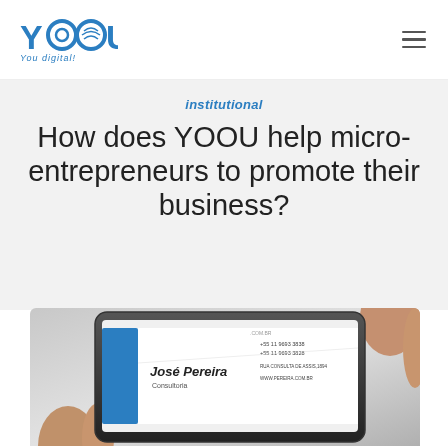YOOU — You digital!
institutional
How does YOOU help micro-entrepreneurs to promote their business?
[Figure (photo): A hand holding a smartphone displaying a digital business card for 'José Pereira' — Consultoria, with contact details including phone numbers +55 11 9693 3838 / +55 11 9693 3828, address RUA CONSULTA DE ASSIS,1894, and website WWW.PEREIRA.COM.BR]